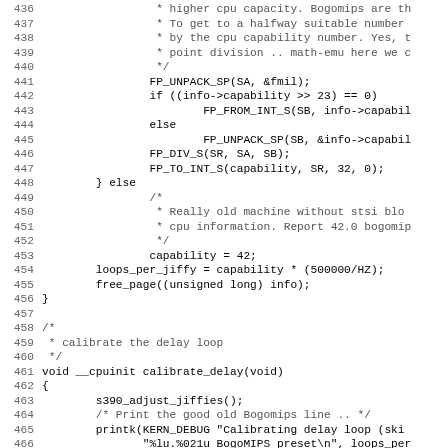[Figure (screenshot): Source code listing showing lines 436-467 of a C source file related to CPU capability and calibrate_delay function in Linux kernel (s390 architecture). Code includes FP_UNPACK_SP, FP_DIV_S, loops_per_jiffy, and calibrate_delay(void) function.]